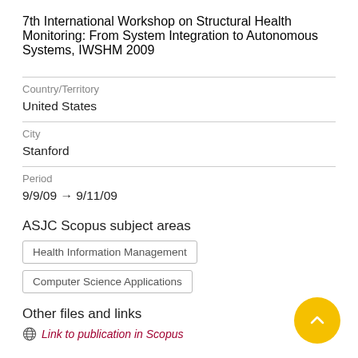7th International Workshop on Structural Health Monitoring: From System Integration to Autonomous Systems, IWSHM 2009
Country/Territory
United States
City
Stanford
Period
9/9/09 → 9/11/09
ASJC Scopus subject areas
Health Information Management
Computer Science Applications
Other files and links
Link to publication in Scopus